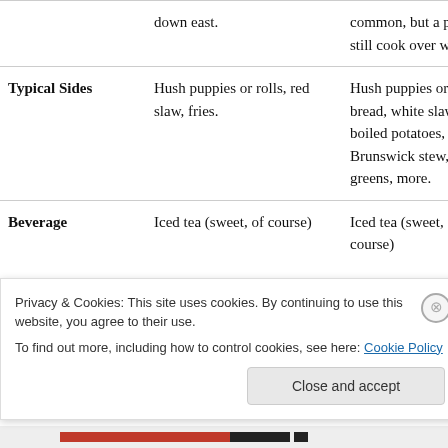|  | Western NC / Lexington Style | Eastern NC / Other |
| --- | --- | --- |
|  | down east. | common, but a pr few still cook over wood. |
| Typical Sides | Hush puppies or rolls, red slaw, fries. | Hush puppies or cornbread, white slaw, boiled potatoes, Brunswick stew, greens, more. |
| Beverage | Iced tea (sweet, of course) | Iced tea (sweet, of course) |
Privacy & Cookies: This site uses cookies. By continuing to use this website, you agree to their use.
To find out more, including how to control cookies, see here: Cookie Policy